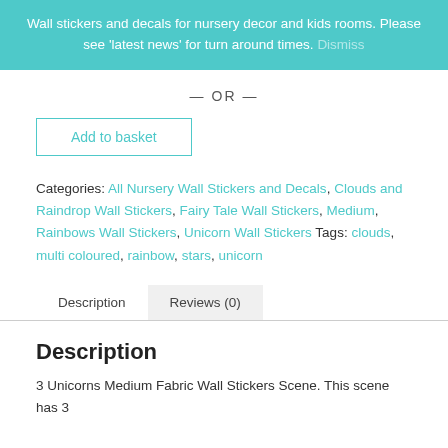Wall stickers and decals for nursery decor and kids rooms. Please see 'latest news' for turn around times. Dismiss
— OR —
Add to basket
Categories: All Nursery Wall Stickers and Decals, Clouds and Raindrop Wall Stickers, Fairy Tale Wall Stickers, Medium, Rainbows Wall Stickers, Unicorn Wall Stickers Tags: clouds, multi coloured, rainbow, stars, unicorn
Description   Reviews (0)
Description
3 Unicorns Medium Fabric Wall Stickers Scene. This scene has 3